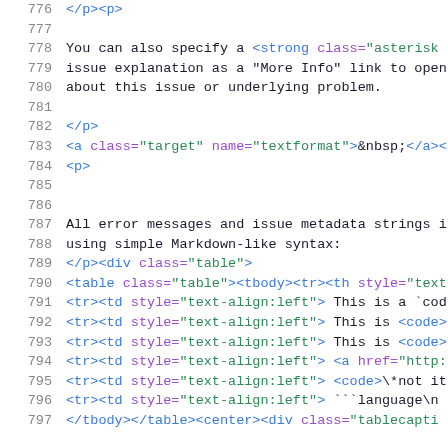Source code / HTML document view, lines 776-797
776: </p><p>
777: (empty)
778: You can also specify a <strong class="asterisk"
779: issue explanation as a "More Info" link to open
780: about this issue or underlying problem.
781: (empty)
782: </p>
783: <a class="target" name="textformat">&nbsp;</a><
784: <p>
785: (empty)
786: (empty)
787: All error messages and issue metadata strings i
788: using simple Markdown-like syntax:
789: </p><div class="table">
790: <table class="table"><tbody><tr><th style="text
791: <tr><td style="text-align:left"> This is a `cod
792: <tr><td style="text-align:left"> This is <code>
793: <tr><td style="text-align:left"> This is <code>
794: <tr><td style="text-align:left"> <a href="http:
795: <tr><td style="text-align:left"> <code>\*not it
796: <tr><td style="text-align:left"> ```language\n
797: </tbody></table><center><div class="tablecapti